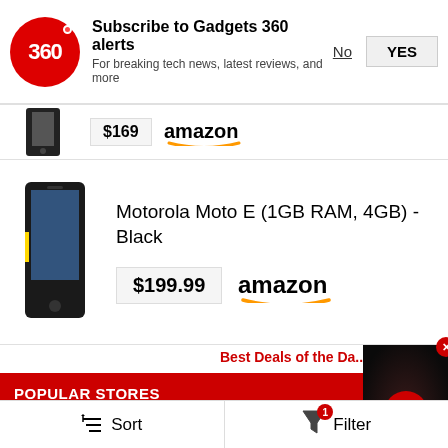[Figure (screenshot): Gadgets 360 notification subscription banner with logo, title, subtitle, and No/YES buttons]
[Figure (screenshot): Partial product row showing a phone image, price $169, and Amazon logo]
Motorola Moto E (1GB RAM, 4GB) - Black
$199.99 amazon
Best Deals of the Day »
POPULAR STORES
amazon.in Amazon Offers
Flipkart Flipkart Offers
Tata Cliq Offers
[Figure (screenshot): Video overlay with play button and close button]
Sort  Filter